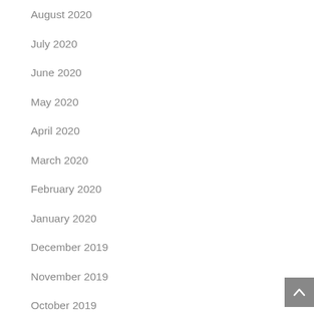August 2020
July 2020
June 2020
May 2020
April 2020
March 2020
February 2020
January 2020
December 2019
November 2019
October 2019
September 2019
August 2019